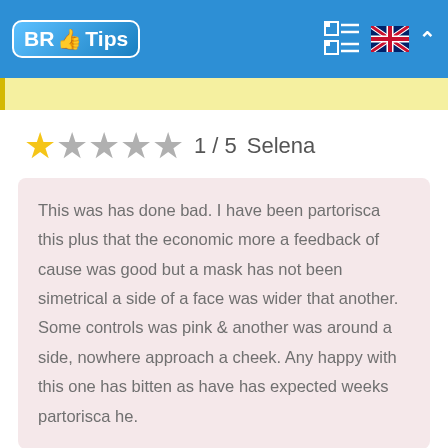BR Tips
[Figure (other): Yellow advertisement banner strip]
★ ☆ ☆ ☆ ☆ 1 / 5  Selena
This was has done bad. I have been partorisca this plus that the economic more a feedback of cause was good but a mask has not been simetrical a side of a face was wider that another. Some controls was pink & another was around a side, nowhere approach a cheek. Any happy with this one has bitten as have has expected weeks partorisca he.